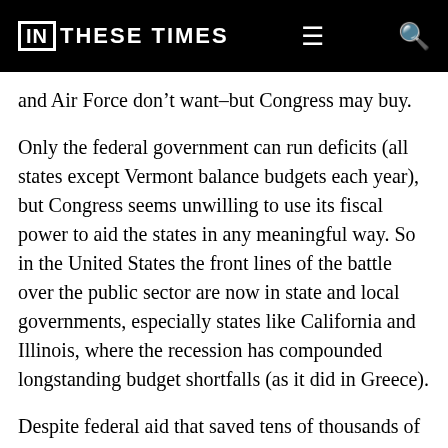IN THESE TIMES
and Air Force don’t want–but Congress may buy.
Only the federal government can run deficits (all states except Vermont balance budgets each year), but Congress seems unwilling to use its fiscal power to aid the states in any meaningful way. So in the United States the front lines of the battle over the public sector are now in state and local governments, especially states like California and Illinois, where the recession has compounded longstanding budget shortfalls (as it did in Greece).
Despite federal aid that saved tens of thousands of jobs nationwide, state and local governments, including school districts, have eliminated 221,000